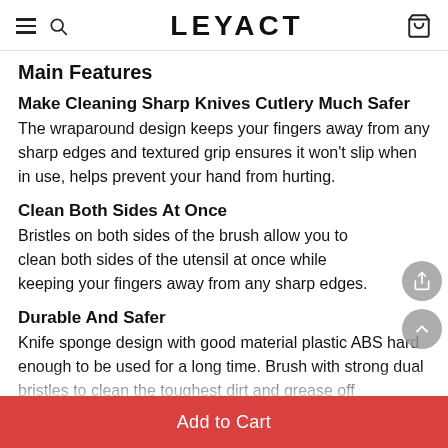LEYACT
Main Features
Make Cleaning Sharp Knives Cutlery Much Safer
The wraparound design keeps your fingers away from any sharp edges and textured grip ensures it won't slip when in use, helps prevent your hand from hurting.
Clean Both Sides At Once
Bristles on both sides of the brush allow you to clean both sides of the utensil at once while keeping your fingers away from any sharp edges.
Durable And Safer
Knife sponge design with good material plastic ABS hard enough to be used for a long time. Brush with strong dual bristles to clean the toughest dirt and grease off
Add to Cart